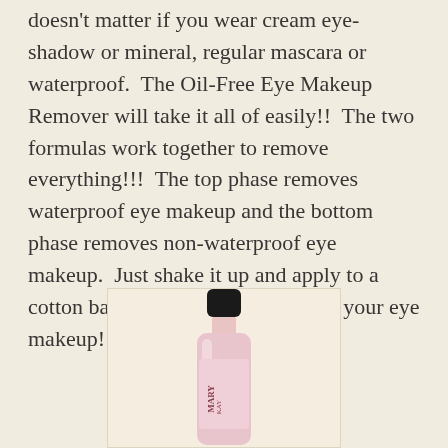doesn't matter if you wear cream eye-shadow or mineral, regular mascara or waterproof.  The Oil-Free Eye Makeup Remover will take it all of easily!!  The two formulas work together to remove everything!!!  The top phase removes waterproof eye makeup and the bottom phase removes non-waterproof eye makeup.  Just shake it up and apply to a cotton ball . . . and say good-bye to your eye makeup!
[Figure (photo): A bottle of Mary Kay Oil-Free Eye Makeup Remover with a black cap and pink label, shown against a light beige background.]